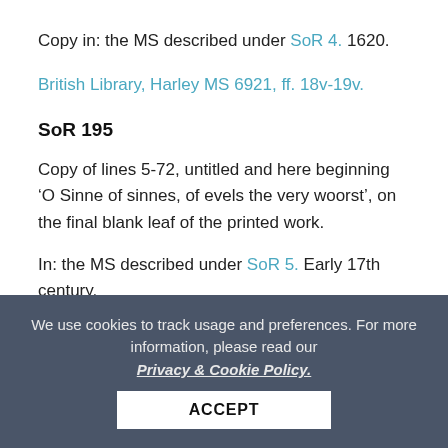Copy in: the MS described under SoR 4. 1620.
British Library, Harley MS 6921, ff. 18v-19v.
SoR 195
Copy of lines 5-72, untitled and here beginning ‘O Sinne of sinnes, of evels the very woorst’, on the final blank leaf of the printed work.
In: the MS described under SoR 5. Early 17th century.
We use cookies to track usage and preferences. For more information, please read our Privacy & Cookie Policy.
ACCEPT